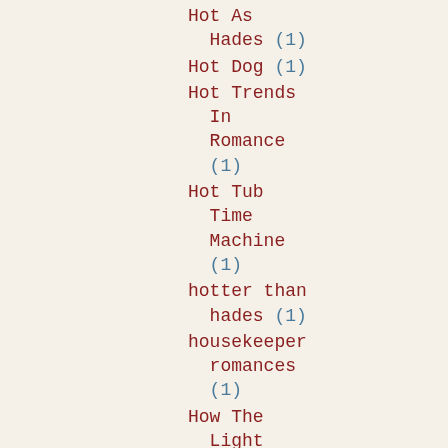Hot As Hades (1)
Hot Dog (1)
Hot Trends In Romance (1)
Hot Tub Time Machine (1)
hotter than hades (1)
housekeeper romances (1)
How The Light